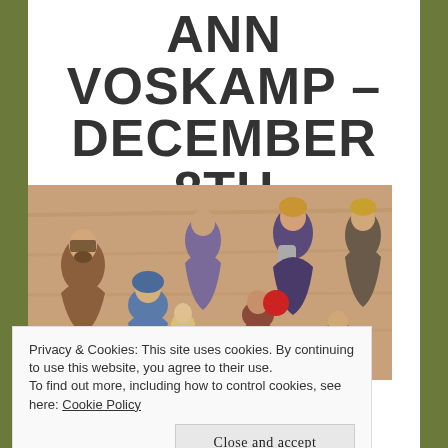ANN VOSKAMP – DECEMBER 8TH DEVOTION.
[Figure (photo): Colorful nativity scene figurines including Mary, Joseph, wise men, and other figures arranged together]
Privacy & Cookies: This site uses cookies. By continuing to use this website, you agree to their use.
To find out more, including how to control cookies, see here: Cookie Policy
Close and accept
Wishing you and your family the Merriest